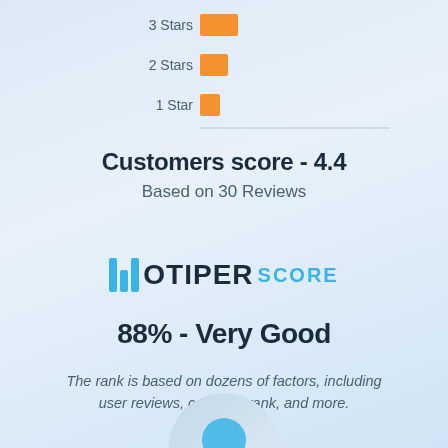[Figure (bar-chart): Star ratings (partial)]
Customers score - 4.4
Based on 30 Reviews
[Figure (logo): Hotiper Score logo with bar chart icon in blue, text HOTIPER in dark and SCORE in blue]
88% - Very Good
The rank is based on dozens of factors, including user reviews, category rank, and more.
[Figure (photo): Partial circular avatar/profile image at bottom of page]